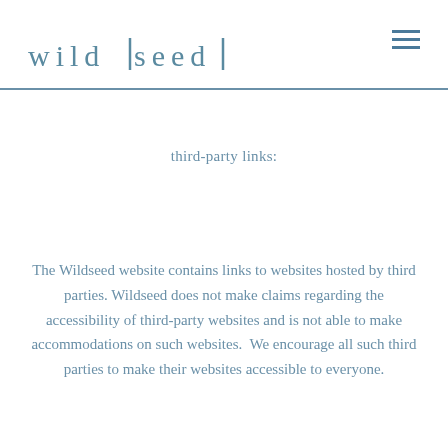wildseed
third-party links:
The Wildseed website contains links to websites hosted by third parties. Wildseed does not make claims regarding the accessibility of third-party websites and is not able to make accommodations on such websites.  We encourage all such third parties to make their websites accessible to everyone.